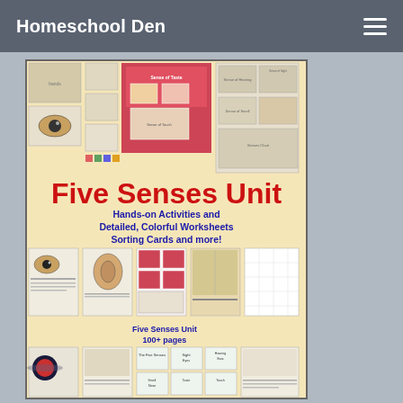Homeschool Den
[Figure (illustration): Promotional image for Five Senses Unit study with text: 'Five Senses Unit - Hands-on Activities and Detailed, Colorful Worksheets - Sorting Cards and more! - Five Senses Unit 100+ pages - homeschoolden.com'. Shows collage of worksheets, sorting cards, and activity pages about the five senses including sight, hearing, smell, taste, and touch.]